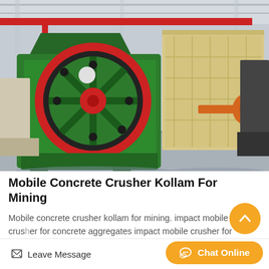[Figure (photo): Industrial factory floor with green jaw crusher machine (large red flywheel) in foreground and beige/cream colored impact crusher in background. Red overhead crane visible. Concrete floor, steel structure building.]
Mobile Concrete Crusher Kollam For Mining
Mobile concrete crusher kollam for mining. impact mobile crusher for concrete aggregates impact mobile crusher for concrete
Leave Message
Chat Online